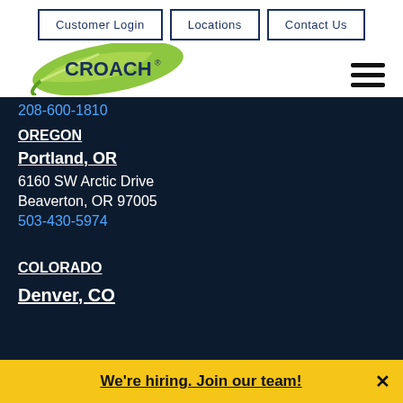Customer Login | Locations | Contact Us
[Figure (logo): Croach pest control logo with green leaf and CROACH text]
208-600-1810
OREGON
Portland, OR
6160 SW Arctic Drive
Beaverton, OR 97005
503-430-5974
COLORADO
Denver, CO
We're hiring. Join our team!